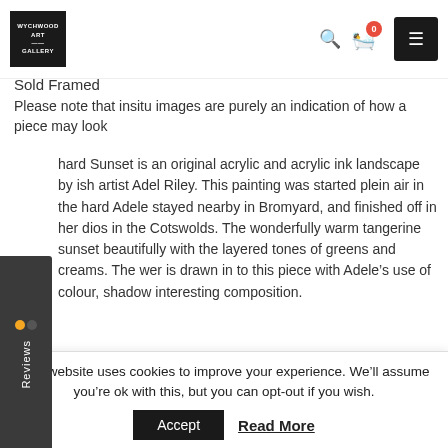Wychwood Art Gallery
Sold Framed
Please note that insitu images are purely an indication of how a piece may look
hard Sunset is an original acrylic and acrylic ink landscape by ish artist Adel Riley. This painting was started plein air in the hard Adele stayed nearby in Bromyard, and finished off in her dios in the Cotswolds. The wonderfully warm tangerine sunset beautifully with the layered tones of greens and creams. The wer is drawn in to this piece with Adele's use of colour, shadow interesting composition.
ARTIST BIO
This website uses cookies to improve your experience. We'll assume you're ok with this, but you can opt-out if you wish.
Accept   Read More